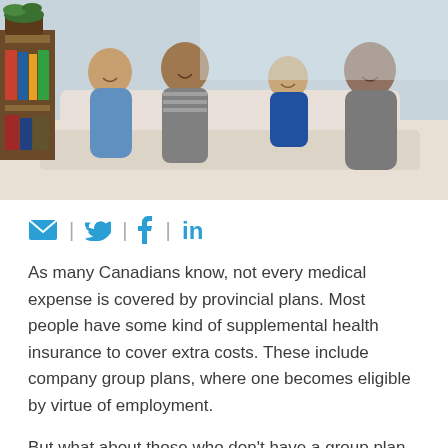[Figure (photo): A happy family of four — two adults and two children — sitting together on a couch, smiling and laughing in a living room setting.]
[Figure (infographic): Social sharing icons: email/envelope, Twitter bird, Facebook f, LinkedIn in — separated by vertical bar dividers, in blue color.]
As many Canadians know, not every medical expense is covered by provincial plans. Most people have some kind of supplemental health insurance to cover extra costs. These include company group plans, where one becomes eligible by virtue of employment.
But what about those who don't have a group plan